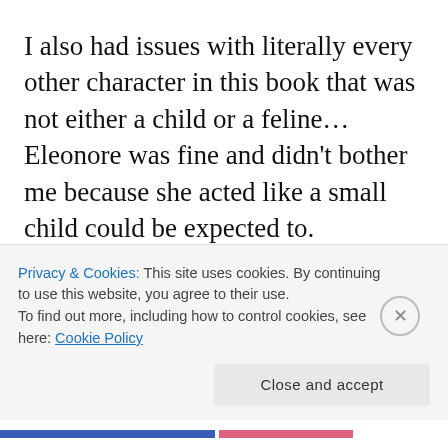I also had issues with literally every other character in this book that was not either a child or a feline… Eleonore was fine and didn't bother me because she acted like a small child could be expected to. Everybody else got on my nerves at all times. What frustrated me the most, I think, was how literally no one bothered to even try to explain to the
Privacy & Cookies: This site uses cookies. By continuing to use this website, you agree to their use.
To find out more, including how to control cookies, see here: Cookie Policy
Close and accept